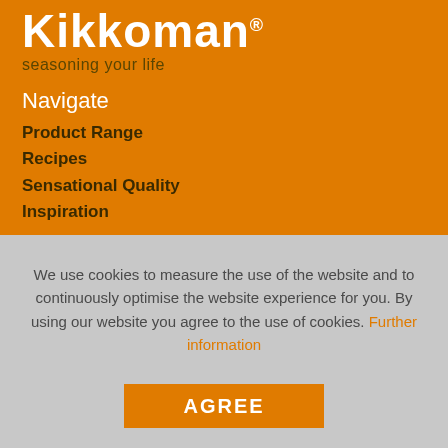[Figure (logo): Kikkoman logo with text 'Kikkoman®' in bold white on orange background, with tagline 'seasoning your life' in dark text below]
Navigate
Product Range
Recipes
Sensational Quality
Inspiration
We use cookies to measure the use of the website and to continuously optimise the website experience for you. By using our website you agree to the use of cookies. Further information
AGREE